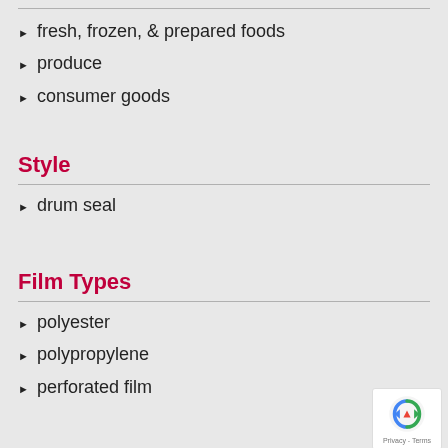fresh, frozen, & prepared foods
produce
consumer goods
Style
drum seal
Film Types
polyester
polypropylene
perforated film